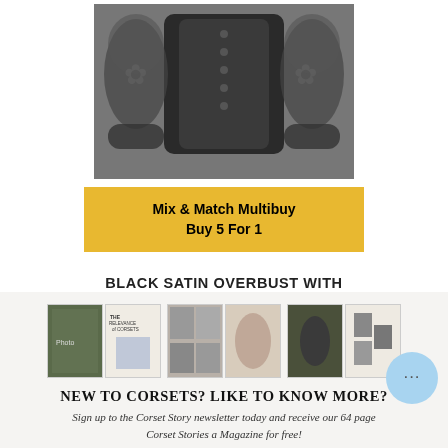[Figure (photo): Black satin overbust corset with lace sleeves product photo]
Mix & Match Multibuy
Buy 5 For 1
BLACK SATIN OVERBUST WITH LACE SLEEVES
$188.50  $125.00
[Figure (photo): Magazine strip showing corset story magazine images - three pairs of magazine covers/pages]
NEW TO CORSETS? LIKE TO KNOW MORE?
Sign up to the Corset Story newsletter today and receive our 64 page Corset Stories a Magazine for free!